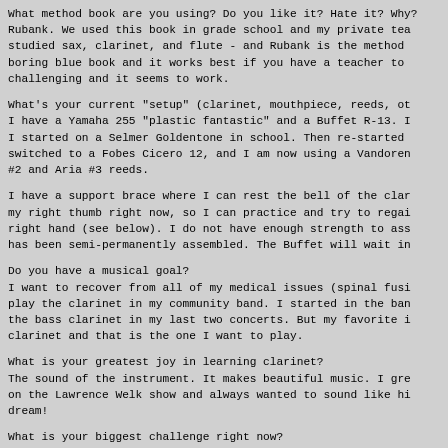What method book are you using? Do you like it? Hate it? Why? Rubank. We used this book in grade school and my private tea studied sax, clarinet, and flute - and Rubank is the method boring blue book and it works best if you have a teacher to challenging and it seems to work.
What's your current "setup" (clarinet, mouthpiece, reeds, ot I have a Yamaha 255 "plastic fantastic" and a Buffet R-13. I I started on a Selmer Goldentone in school. Then re-started switched to a Fobes Cicero 12, and I am now using a Vandoren #2 and Aria #3 reeds.
I have a support brace where I can rest the bell of the clar my right thumb right now, so I can practice and try to regai right hand (see below). I do not have enough strength to ass has been semi-permanently assembled. The Buffet will wait in
Do you have a musical goal? I want to recover from all of my medical issues (spinal fusi play the clarinet in my community band. I started in the ban the bass clarinet in my last two concerts. But my favorite i clarinet and that is the one I want to play.
What is your greatest joy in learning clarinet? The sound of the instrument. It makes beautiful music. I gre on the Lawrence Welk show and always wanted to sound like hi dream!
What is your biggest challenge right now? Recovering from wrist fusion surgery, so I can hold the clar hand properly. I injured my hand in a crash about 40 years a hold the clarinet since then. It is very frustrating to see